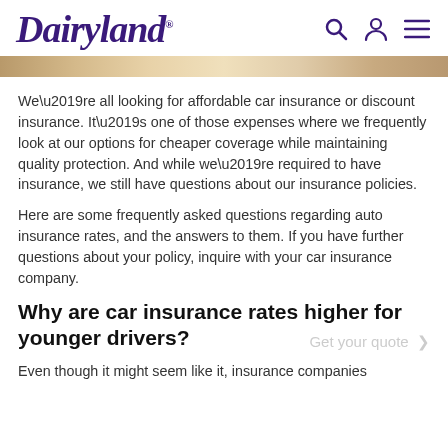Dairyland
[Figure (illustration): Decorative tan/beige gradient banner bar]
We’re all looking for affordable car insurance or discount insurance. It’s one of those expenses where we frequently look at our options for cheaper coverage while maintaining quality protection. And while we’re required to have insurance, we still have questions about our insurance policies.
Here are some frequently asked questions regarding auto insurance rates, and the answers to them. If you have further questions about your policy, inquire with your car insurance company.
Why are car insurance rates higher for younger drivers?
Even though it might seem like it, insurance companies